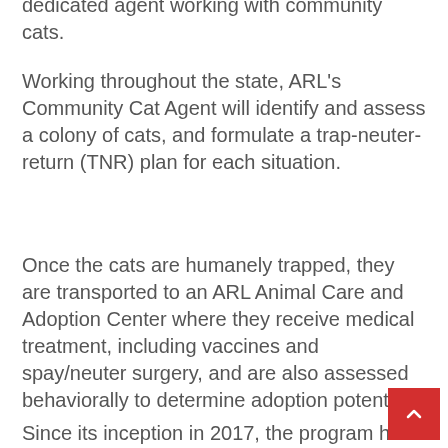dedicated agent working with community cats.
Working throughout the state, ARL's Community Cat Agent will identify and assess a colony of cats, and formulate a trap-neuter-return (TNR) plan for each situation.
Once the cats are humanely trapped, they are transported to an ARL Animal Care and Adoption Center where they receive medical treatment, including vaccines and spay/neuter surgery, and are also assessed behaviorally to determine adoption potential.
Since its inception in 2017, the program has